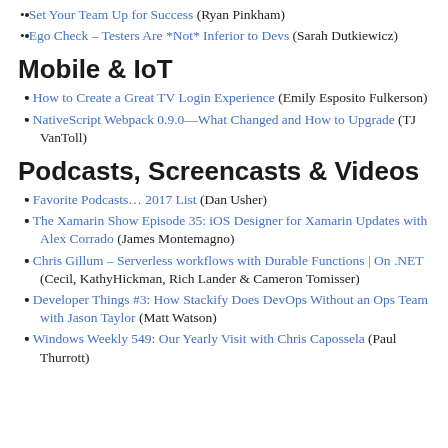Set Your Team Up for Success (Ryan Pinkham)
Ego Check – Testers Are *Not* Inferior to Devs (Sarah Dutkiewicz)
Mobile & IoT
How to Create a Great TV Login Experience (Emily Esposito Fulkerson)
NativeScript Webpack 0.9.0—What Changed and How to Upgrade (TJ VanToll)
Podcasts, Screencasts & Videos
Favorite Podcasts… 2017 List (Dan Usher)
The Xamarin Show Episode 35: iOS Designer for Xamarin Updates with Alex Corrado (James Montemagno)
Chris Gillum – Serverless workflows with Durable Functions | On .NET (Cecil, KathyHickman, Rich Lander & Cameron Tomisser)
Developer Things #3: How Stackify Does DevOps Without an Ops Team with Jason Taylor (Matt Watson)
Windows Weekly 549: Our Yearly Visit with Chris Capossela (Paul Thurrott)